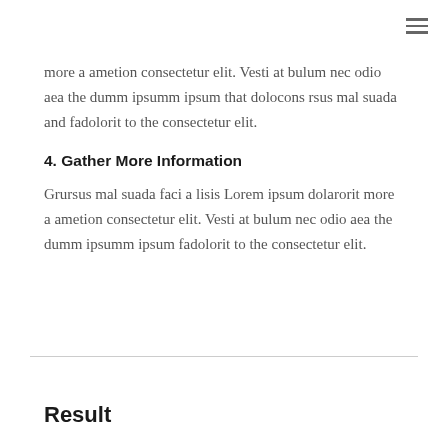more a ametion consectetur elit. Vesti at bulum nec odio aea the dumm ipsumm ipsum that dolocons rsus mal suada and fadolorit to the consectetur elit.
4. Gather More Information
Grursus mal suada faci a lisis Lorem ipsum dolarorit more a ametion consectetur elit. Vesti at bulum nec odio aea the dumm ipsumm ipsum fadolorit to the consectetur elit.
Result